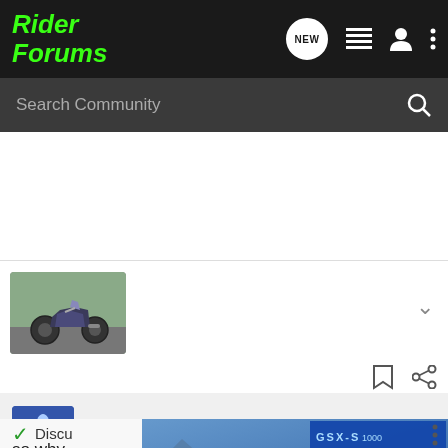Rider Forums
Search Community
[Figure (photo): Thumbnail photo of a sport motorcycle (sportbike) on a road]
Green Rocket · Registered
Joined Mar 28, 2010 · 1,194 Posts
Discu
so why
[Figure (other): Suzuki GSX-S1000 GT advertisement banner with motorcycle image and 'SEE IT NOW' call to action]